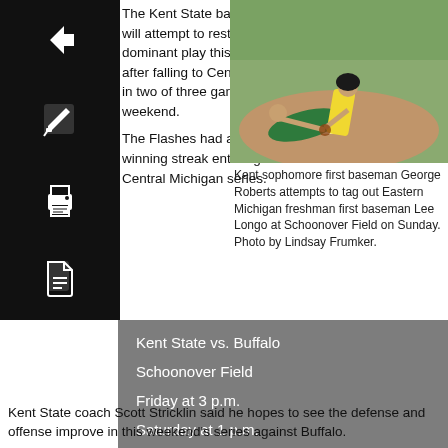[Figure (other): Navigation icon bar with four black square icons: back arrow, edit/pencil, print, and PDF document]
The Kent State baseball team will attempt to restore its dominant play this weekend after falling to Central Michigan in two of three games last weekend.

The Flashes had an 11-game winning streak entering the Central Michigan series.
[Figure (photo): Baseball action photo showing Kent sophomore first baseman George Roberts attempting to tag out Eastern Michigan freshman first baseman Lee Longo at Schoonover Field on Sunday.]
Kent sophomore first baseman George Roberts attempts to tag out Eastern Michigan freshman first baseman Lee Longo at Schoonover Field on Sunday. Photo by Lindsay Frumker.
| Kent State vs. Buffalo |
| Schoonover Field |
| Friday at 3 p.m. |
| Saturday at 1 p.m. |
| Sunday at 1 p.m. |
Kent State coach Scott Stricklin said he hopes to see the defense and offense improve in this weekend's series against Buffalo.